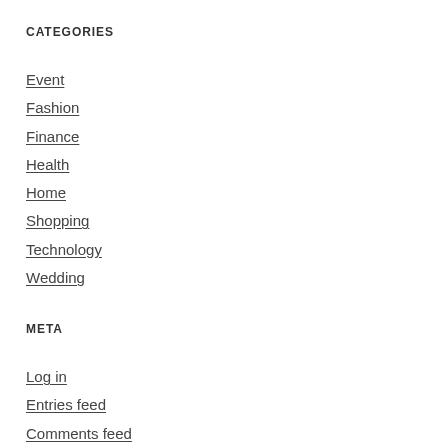CATEGORIES
Event
Fashion
Finance
Health
Home
Shopping
Technology
Wedding
META
Log in
Entries feed
Comments feed
WordPress.org